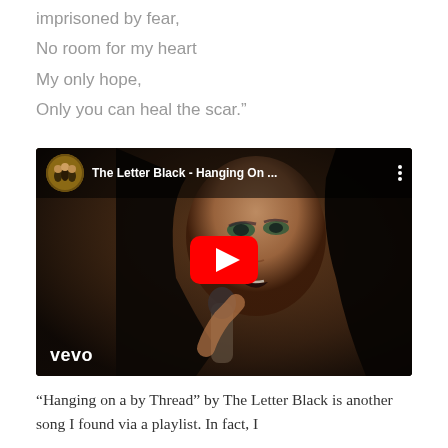imprisoned by fear,
No room for my heart
My only hope,
Only you can heal the scar."
[Figure (screenshot): YouTube video embed thumbnail showing The Letter Black - Hanging On ... with a female singer holding a microphone, Vevo watermark, red YouTube play button in center, and channel avatar in top-left corner]
“Hanging on a by Thread” by The Letter Black is another song I found via a playlist. In fact, I